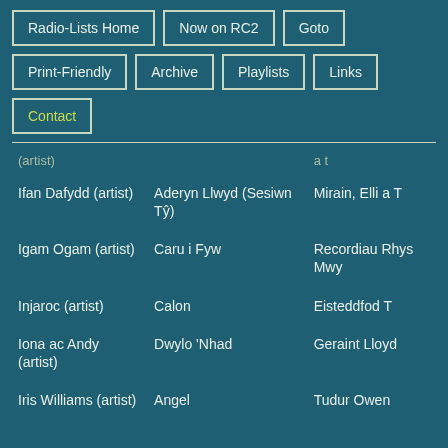Radio-Lists Home
Now on RC2
Goto
Print-Friendly
Archive
Playlists
Links
Contact
| (artist) |  |  |
| --- | --- | --- |
| Ifan Dafydd (artist) | Aderyn Llwyd (Sesiwn Tŷ) | Mirain, Elli a T |
| Igam Ogam (artist) | Caru i Fyw | Recordiau Rhys Mwy |
| Injaroc (artist) | Calon | Eisteddfod T |
| Iona ac Andy (artist) | Dwylo 'Nhad | Geraint Lloyd |
| Iris Williams (artist) | Angel | Tudur Owen |